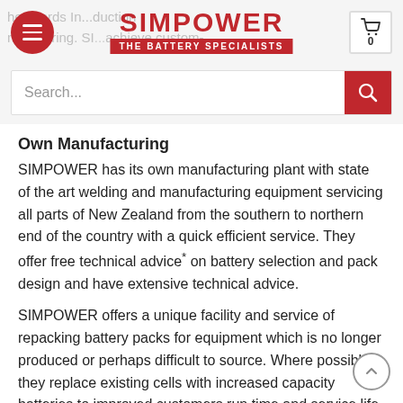SIMPOWER — THE BATTERY SPECIALISTS
Own Manufacturing
SIMPOWER has its own manufacturing plant with state of the art welding and manufacturing equipment servicing all parts of New Zealand from the southern to northern end of the country with a quick efficient service. They offer free technical advice* on battery selection and pack design and have extensive technical advice.
SIMPOWER offers a unique facility and service of repacking battery packs for equipment which is no longer produced or perhaps difficult to source. Where possible they replace existing cells with increased capacity batteries to improved customers run time and service life if possible.